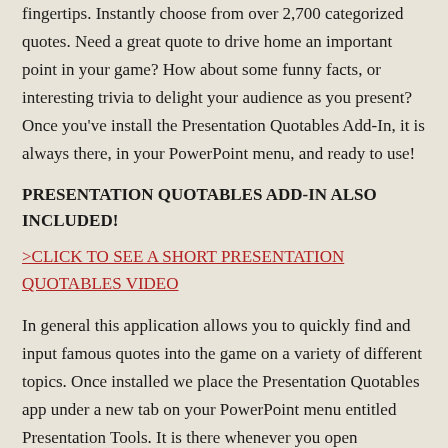fingertips. Instantly choose from over 2,700 categorized quotes. Need a great quote to drive home an important point in your game? How about some funny facts, or interesting trivia to delight your audience as you present? Once you've install the Presentation Quotables Add-In, it is always there, in your PowerPoint menu, and ready to use!
PRESENTATION QUOTABLES ADD-IN ALSO INCLUDED!
>CLICK TO SEE A SHORT PRESENTATION QUOTABLES VIDEO
In general this application allows you to quickly find and input famous quotes into the game on a variety of different topics. Once installed we place the Presentation Quotables app under a new tab on your PowerPoint menu entitled Presentation Tools. It is there whenever you open PowerPoint!